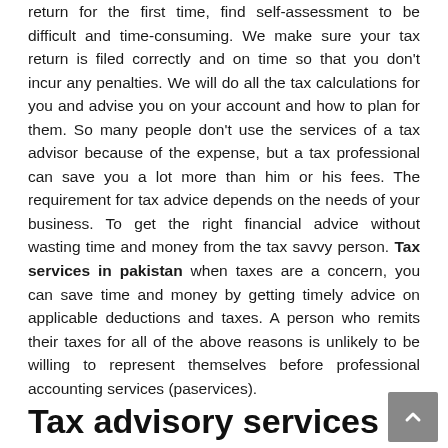return for the first time, find self-assessment to be difficult and time-consuming. We make sure your tax return is filed correctly and on time so that you don't incur any penalties. We will do all the tax calculations for you and advise you on your account and how to plan for them. So many people don't use the services of a tax advisor because of the expense, but a tax professional can save you a lot more than him or his fees. The requirement for tax advice depends on the needs of your business. To get the right financial advice without wasting time and money from the tax savvy person. Tax services in pakistan when taxes are a concern, you can save time and money by getting timely advice on applicable deductions and taxes. A person who remits their taxes for all of the above reasons is unlikely to be willing to represent themselves before professional accounting services (paservices).
Tax advisory services